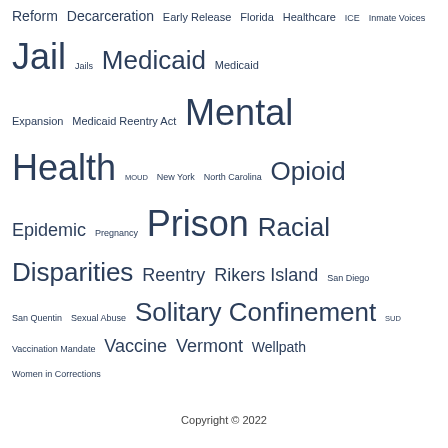Reform Decarceration Early Release Florida Healthcare ICE Inmate Voices Jail Jails Medicaid Medicaid Expansion Medicaid Reentry Act Mental Health MOUD New York North Carolina Opioid Epidemic Pregnancy Prison Racial Disparities Reentry Rikers Island San Diego San Quentin Sexual Abuse Solitary Confinement SUD Vaccination Mandate Vaccine Vermont Wellpath Women in Corrections
Copyright © 2022